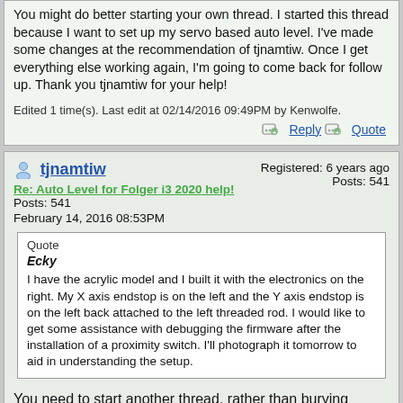You might do better starting your own thread. I started this thread because I want to set up my servo based auto level. I've made some changes at the recommendation of tjnamtiw. Once I get everything else working again, I'm going to come back for follow up. Thank you tjnamtiw for your help!
Edited 1 time(s). Last edit at 02/14/2016 09:49PM by Kenwolfe.
Reply   Quote
tjnamtiw
Registered: 6 years ago
Posts: 541
Re: Auto Level for Folger i3 2020 help!
February 14, 2016 08:53PM
Quote
Ecky
I have the acrylic model and I built it with the electronics on the right. My X axis endstop is on the left and the Y axis endstop is on the left back attached to the left threaded rod. I would like to get some assistance with debugging the firmware after the installation of a proximity switch. I'll photograph it tomorrow to aid in understanding the setup.
You need to start another thread, rather than burying